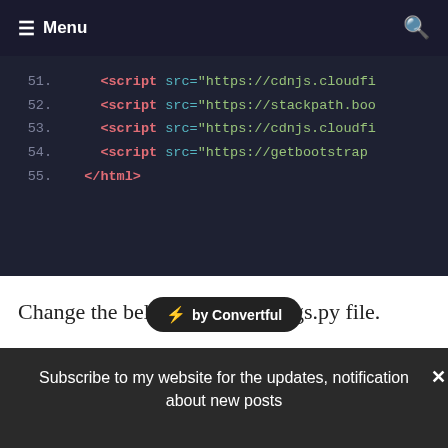≡ Menu   🔍
[Figure (screenshot): Code block showing HTML lines 51-55 with script tags and closing html tag on dark background]
Change the belo...gs.py file.
[Figure (other): Convertful badge overlay with lightning bolt icon]
Subscribe to my website for the updates, notifications about new posts
Your name
Your email
SUBSCRIBE